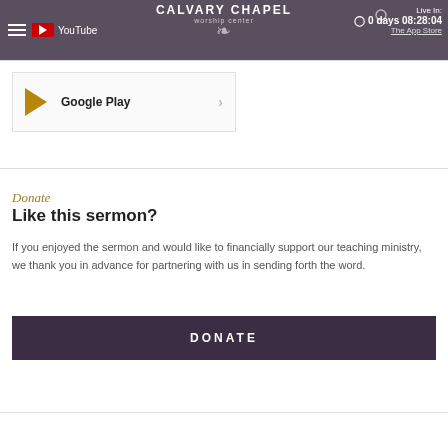Calvary Chapel Worship Center | YouTube | The App Store | Live In: 0 days 08:28:04
Google Play
Donate
Like this sermon?
If you enjoyed the sermon and would like to financially support our teaching ministry, we thank you in advance for partnering with us in sending forth the word.
DONATE